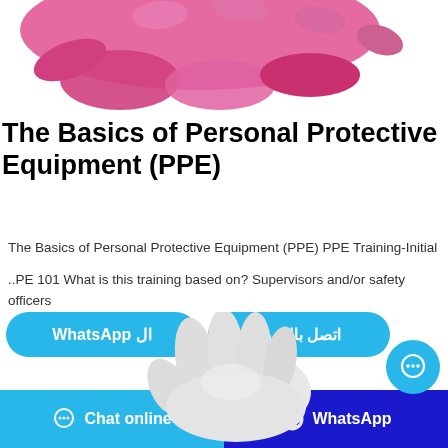[Figure (photo): Pink latex/nitrile glove photographed from above on white background, partially cropped at top of page]
The Basics of Personal Protective Equipment (PPE)
The Basics of Personal Protective Equipment (PPE) PPE Training-Initial
..PE 101 What is this training based on? Supervisors and/or safety officers
ال WhatsApp
اتصل بالمورد
[Figure (photo): White cotton/fabric glove on light background, partially cropped]
Chat online
WhatsApp